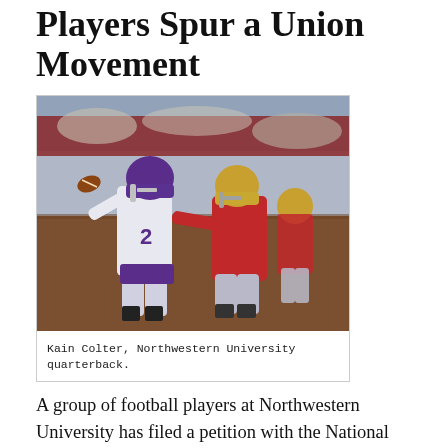Players Spur a Union Movement
[Figure (photo): Kain Colter, Northwestern University quarterback in white jersey with number 2, being rushed by a defender in a red jersey during a football game.]
Kain Colter, Northwestern University quarterback.
A group of football players at Northwestern University has filed a petition with the National Labor Relations Board (NLRB) to certify as a labor union. Their goal, according to spokesman and Northwestern quarterback, Kain Colter, is not to attempt to get college